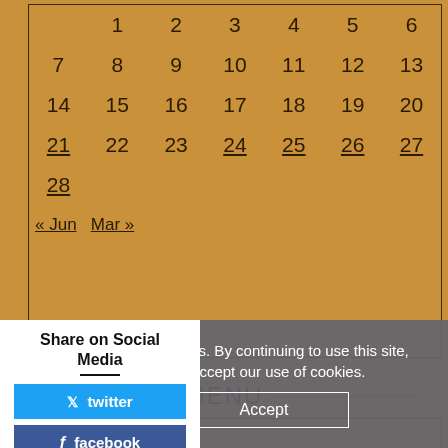| 1 | 2 | 3 | 4 | 5 | 6 |
| 7 | 8 | 9 | 10 | 11 | 12 | 13 |
| 14 | 15 | 16 | 17 | 18 | 19 | 20 |
| 21 | 22 | 23 | 24 | 25 | 26 | 27 |
| 28 |  |  |  |  |  |  |
| « Jun | Mar » |  |  |  |  |  |
MENU
Share on Social Media
twitter
facebook
uses cookies. By continuing to use this site, you accept our use of cookies.
Accept